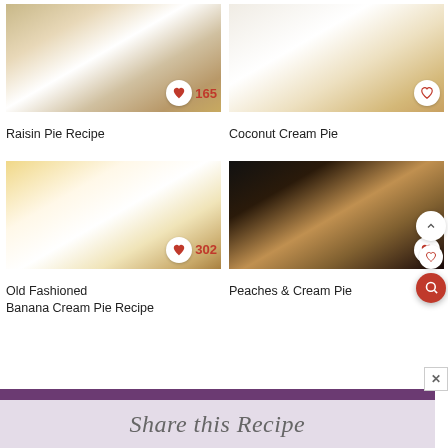[Figure (photo): Slice of Raisin Pie on a plaid plate with white cream topping]
Raisin Pie Recipe
[Figure (photo): Coconut Cream Pie with thick white coconut topping and toasted coconut flakes]
Coconut Cream Pie
[Figure (photo): Old Fashioned Banana Cream Pie with banana slices on top and a slice removed]
Old Fashioned Banana Cream Pie Recipe
[Figure (photo): Peaches and Cream Pie on dark background with heart-shaped pastry decoration on top]
Peaches & Cream Pie
Share this Recipe